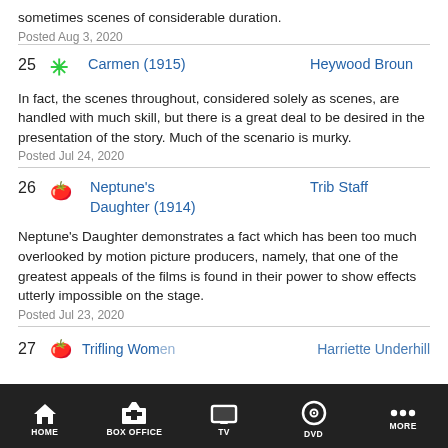sometimes scenes of considerable duration.
Posted Aug 3, 2020
25 * Carmen (1915) Heywood Broun
In fact, the scenes throughout, considered solely as scenes, are handled with much skill, but there is a great deal to be desired in the presentation of the story. Much of the scenario is murky.
Posted Jul 24, 2020
26 🍅 Neptune's Daughter (1914) Trib Staff
Neptune's Daughter demonstrates a fact which has been too much overlooked by motion picture producers, namely, that one of the greatest appeals of the films is found in their power to show effects utterly impossible on the stage.
Posted Jul 23, 2020
27 🍅 Trifling Women Harriette Underhill
HOME  BOX OFFICE  TV  DVD  MORE